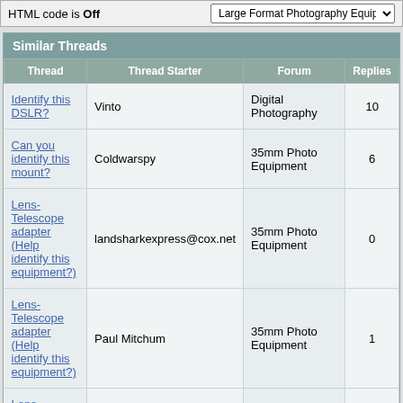HTML code is Off
| Thread | Thread Starter | Forum | Replies |
| --- | --- | --- | --- |
| Identify this DSLR? | Vinto | Digital Photography | 10 |
| Can you identify this mount? | Coldwarspy | 35mm Photo Equipment | 6 |
| Lens-Telescope adapter (Help identify this equipment?) | landsharkexpress@cox.net | 35mm Photo Equipment | 0 |
| Lens-Telescope adapter (Help identify this equipment?) | Paul Mitchum | 35mm Photo Equipment | 1 |
| Lens-Telescope adapter (Help | Colin | 35mm Photo Equipment | 0 |